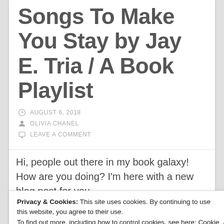Songs To Make You Stay by Jay E. Tria / A Book Playlist
AUGUST 6, 2018
OLIVIA CHANEL
LEAVE A COMMENT
Hi, people out there in my book galaxy! How are you doing? I'm here with a new blog post for you
Privacy & Cookies: This site uses cookies. By continuing to use this website, you agree to their use.
To find out more, including how to control cookies, see here: Cookie Policy
Close and accept